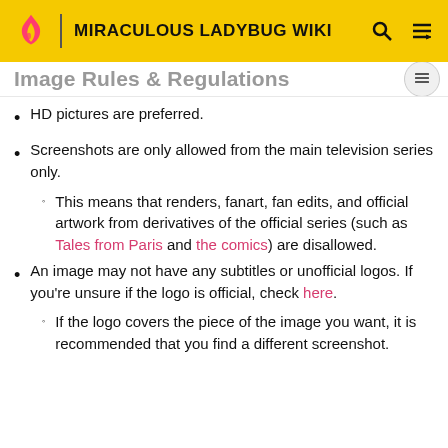MIRACULOUS LADYBUG WIKI
Image Rules & Regulations
HD pictures are preferred.
Screenshots are only allowed from the main television series only.
This means that renders, fanart, fan edits, and official artwork from derivatives of the official series (such as Tales from Paris and the comics) are disallowed.
An image may not have any subtitles or unofficial logos. If you're unsure if the logo is official, check here.
If the logo covers the piece of the image you want, it is recommended that you find a different screenshot.